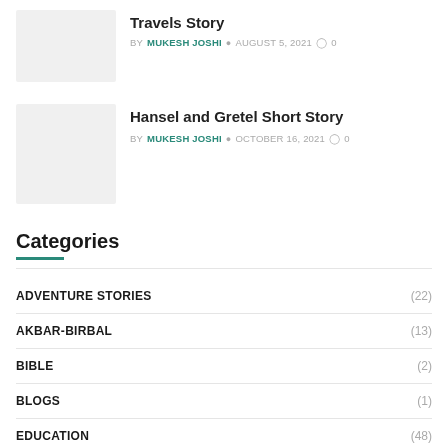Travels Story — BY MUKESH JOSHI  AUGUST 5, 2021  0
Hansel and Gretel Short Story — BY MUKESH JOSHI  OCTOBER 16, 2021  0
Categories
ADVENTURE STORIES (22)
AKBAR-BIRBAL (13)
BIBLE (2)
BLOGS (1)
EDUCATION (48)
ENGLISH STORY (5)